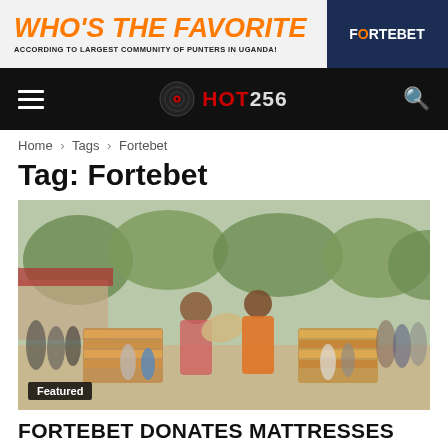[Figure (infographic): Fortebet advertisement banner: orange italic bold text 'WHO'S THE FAVORITE' on light background, with dark navy right panel showing FORTEBET logo, and subtitle 'ACCORDING TO LARGEST COMMUNITY OF PUNTERS IN UGANDA!']
HOT256 — website navigation bar with hamburger menu, vinyl disc logo, site name, and search icon
Home › Tags › Fortebet
Tag: Fortebet
[Figure (photo): Group of African children and adults outdoors near trees and a red-roofed building. Two people in the center are handing over or holding a rolled item (mattress). Several mattresses are stacked on either side. The person on the right wears an orange shirt. Scene appears to be a donation event.]
Featured
FORTEBET DONATES MATTRESSES